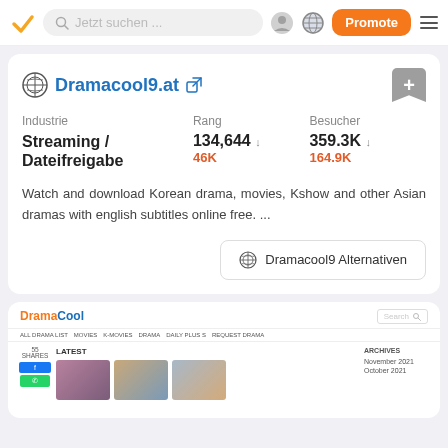Jetzt suchen ... Promote
Dramacool9.at
| Industrie | Rang | Besucher |
| --- | --- | --- |
| Streaming / Dateifreigabe | 134,644 ↓ 46K | 359.3K ↓ 164.9K |
Watch and download Korean drama, movies, Kshow and other Asian dramas with english subtitles online free. ...
Dramacool9 Alternativen
[Figure (screenshot): Screenshot of DramaCool website showing header with logo, navigation bar, latest drama thumbnails, and archives sidebar]